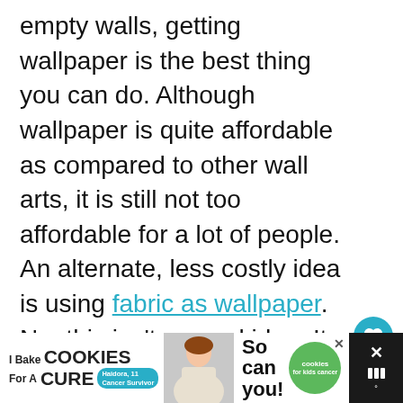empty walls, getting wallpaper is the best thing you can do. Although wallpaper is quite affordable as compared to other wall arts, it is still not too affordable for a lot of people. An alternate, less costly idea is using fabric as wallpaper. No, this isn't a usual idea. It is not as common but a lot of people have tried it and they love the results.
[Figure (other): Social sharing sidebar with heart/like button (teal circle with heart icon), like count '78', and share button (light circle with share icon)]
[Figure (other): Advertisement banner at the bottom: 'I Bake COOKIES For A CURE' with Haidora, 11 Cancer Survivor badge, a photo of a girl, 'So can you!' text, and cookies for kids cancer green badge. Dark background with close X button.]